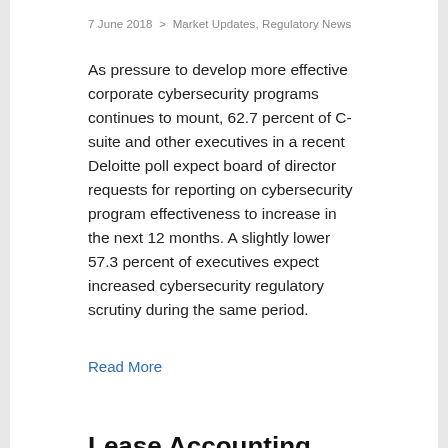7 June 2018  >  Market Updates, Regulatory News
As pressure to develop more effective corporate cybersecurity programs continues to mount, 62.7 percent of C-suite and other executives in a recent Deloitte poll expect board of director requests for reporting on cybersecurity program effectiveness to increase in the next 12 months. A slightly lower 57.3 percent of executives expect increased cybersecurity regulatory scrutiny during the same period.
Read More
Lease Accounting Compliance: 3 Critical Steps to Meet This Year's Deadline
6 June 2018  >  Market Updates, Regulatory News